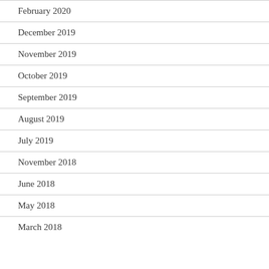February 2020
December 2019
November 2019
October 2019
September 2019
August 2019
July 2019
November 2018
June 2018
May 2018
March 2018